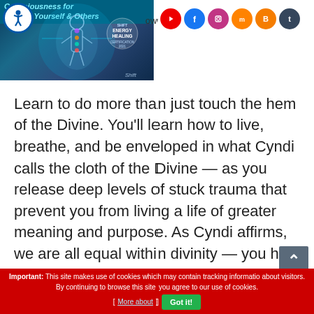[Figure (illustration): Banner image showing a human figure with energy/chakra visualization on a dark blue-teal background, with text 'Consciousness for Healing Yourself & Others' and an 'Energy Healing Certification' badge, and 'Shift' branding]
[Figure (infographic): Row of social media icons: YouTube (red), Facebook (blue), Instagram (pink), Mix (orange), Blogger (orange), Tumblr (dark blue)]
Learn to do more than just touch the hem of the Divine. You'll learn how to live, breathe, and be enveloped in what Cyndi calls the cloth of the Divine — as you release deep levels of stuck trauma that prevent you from living a life of greater meaning and purpose. As Cyndi affirms, we are all equal within divinity — you have the same capacity for living in the guru state as everyone else. She'll share how you can reach your own adept-level status for living your most peaceful, guided life
Important: This site makes use of cookies which may contain tracking information about visitors. By continuing to browse this site you agree to our use of cookies. [ More about ] Got it!